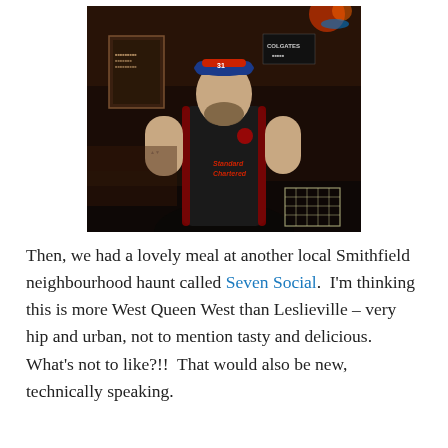[Figure (photo): A man wearing a dark Adidas sleeveless jersey with red trim reading 'Standard Chartered' and a red and blue cap, standing inside a dimly lit pub or bar with dark walls and warm lights. A wire basket is visible in the foreground to the right.]
Then, we had a lovely meal at another local Smithfield neighbourhood haunt called Seven Social.  I'm thinking this is more West Queen West than Leslieville – very hip and urban, not to mention tasty and delicious.  What's not to like?!!  That would also be new, technically speaking.